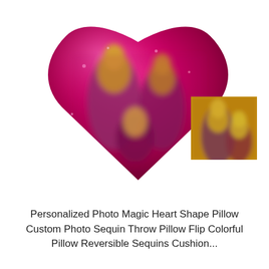[Figure (photo): A hot pink heart-shaped sequin pillow with a blurred custom photo printed on it showing two figures. In the lower right corner, a small square inset image shows a blurred photo of two people.]
Personalized Photo Magic Heart Shape Pillow Custom Photo Sequin Throw Pillow Flip Colorful Pillow Reversible Sequins Cushion...